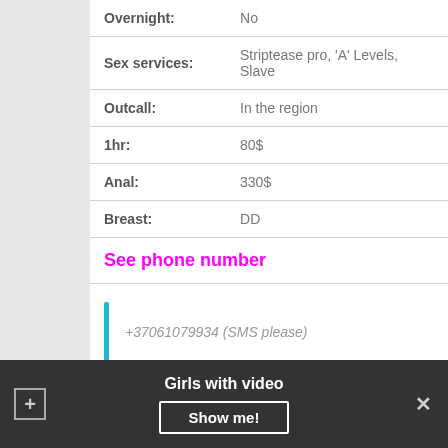| Overnight: | No |
| Sex services: | Striptease pro, 'A' Levels, Slave |
| Outcall: | In the region |
| 1hr: | 80$ |
| Anal: | 330$ |
| Breast: | DD |
See phone number
+37061079934 (SMS please)
Cinzia
Girls with video
Show me!